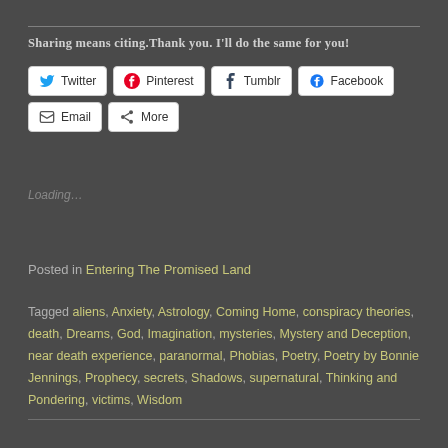Sharing means citing.Thank you. I'll do the same for you!
[Figure (screenshot): Social share buttons: Twitter, Pinterest, Tumblr, Facebook, Email, More]
Loading…
Posted in Entering The Promised Land
Tagged aliens, Anxiety, Astrology, Coming Home, conspiracy theories, death, Dreams, God, Imagination, mysteries, Mystery and Deception, near death experience, paranormal, Phobias, Poetry, Poetry by Bonnie Jennings, Prophecy, secrets, Shadows, supernatural, Thinking and Pondering, victims, Wisdom